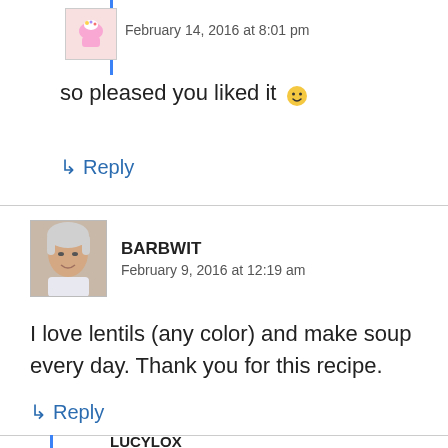February 14, 2016 at 8:01 pm
so pleased you liked it 🙂
↳ Reply
BARBWIT
February 9, 2016 at 12:19 am
I love lentils (any color) and make soup every day. Thank you for this recipe.
↳ Reply
LUCYLOX